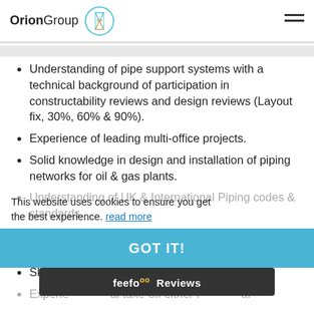OrionGroup [logo]
Understanding of pipe support systems with a technical background of participation in constructability reviews and design reviews (Layout fix, 30%, 60% & 90%).
Experience of leading multi-office projects.
Solid knowledge in design and installation of piping networks for oil & gas plants.
Understanding of UK & International Piping codes & standards.
Expertise with MicroStation & Autocad in production of 2D drawings.
Skills in production of 3D models
Experience ... al take-off either f... al
This website uses cookies to ensure you get the best experience. read more
GOT IT!
feefo Reviews